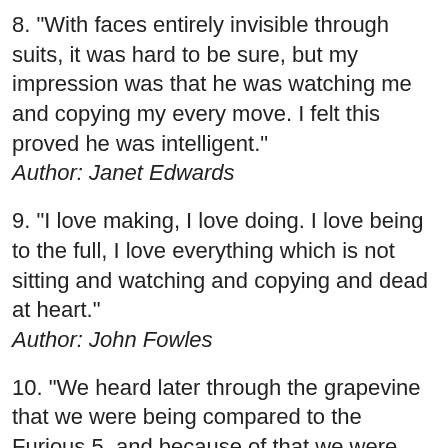8. "With faces entirely invisible through suits, it was hard to be sure, but my impression was that he was watching me and copying my every move. I felt this proved he was intelligent." Author: Janet Edwards
9. "I love making, I love doing. I love being to the full, I love everything which is not sitting and watching and copying and dead at heart." Author: John Fowles
10. "We heard later through the grapevine that we were being compared to the Furious 5, and because of that we were getting feedback that they were saying that we werent all that, that we were copying them... blah blah blah." Author: Kool Moe Dee
11. "Menshn is a play on the word mention, and in the U.S. that's how it'll be perceived. Like Tumblr or Flickr. People in the U.K.